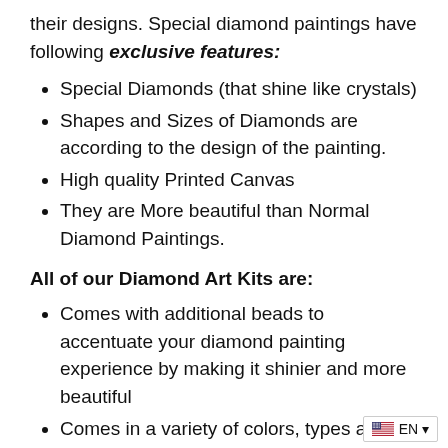their designs. Special diamond paintings have following exclusive features:
Special Diamonds (that shine like crystals)
Shapes and Sizes of Diamonds are according to the design of the painting.
High quality Printed Canvas
They are More beautiful than Normal Diamond Paintings.
All of our Diamond Art Kits are:
Comes with additional beads to accentuate your diamond painting experience by making it shinier and more beautiful
Comes in a variety of colors, types and patterns, so you can choose what you love the most
Shipped worldwide, so all aspiring dia…